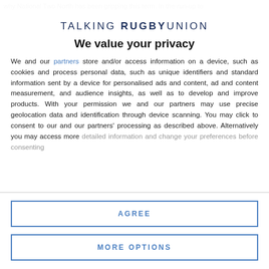why National Two North has been gripping this term. In the run-up to
[Figure (logo): Talking Rugby Union logo — uppercase sans-serif text reading TALKING RUGBY UNION]
We value your privacy
We and our partners store and/or access information on a device, such as cookies and process personal data, such as unique identifiers and standard information sent by a device for personalised ads and content, ad and content measurement, and audience insights, as well as to develop and improve products. With your permission we and our partners may use precise geolocation data and identification through device scanning. You may click to consent to our and our partners' processing as described above. Alternatively you may access more detailed information and change your preferences before consenting
AGREE
MORE OPTIONS